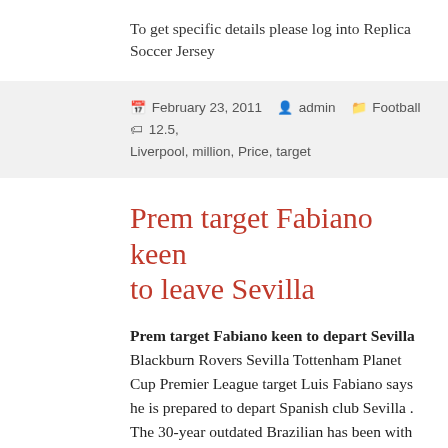To get specific details please log into Replica Soccer Jersey
February 23, 2011  admin  Football  12.5, Liverpool, million, Price, target
Prem target Fabiano keen to leave Sevilla
Prem target Fabiano keen to depart Sevilla Blackburn Rovers Sevilla Tottenham Planet Cup Premier League target Luis Fabiano says he is prepared to depart Spanish club Sevilla . The 30-year outdated Brazilian has been with the club for about 6 years and admits it is time for a new challenge, indicating his likely exit in the summer. The former Sao Paulo star has attracted a great deal of consideration from the likes of Tottenham